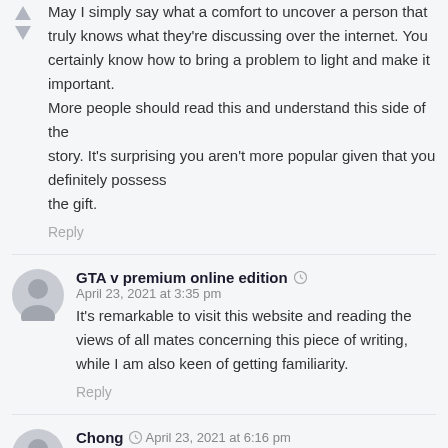May I simply say what a comfort to uncover a person that truly knows what they're discussing over the internet. You certainly know how to bring a problem to light and make it important.
More people should read this and understand this side of the
story. It's surprising you aren't more popular given that you definitely possess
the gift.
Reply
GTA v premium online edition  April 23, 2021 at 3:35 pm
It's remarkable to visit this website and reading the views of all mates concerning this piece of writing, while I am also keen of getting familiarity.
Reply
Chong  April 23, 2021 at 6:16 pm
I am extremely impressed along with your writing skills as neatly as with the layout on your weblog.

Is this a paid subject matter or did you modify it yourself?